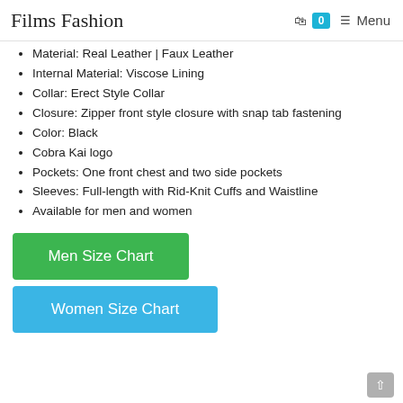Films Fashion | Menu 0
Material: Real Leather | Faux Leather
Internal Material: Viscose Lining
Collar: Erect Style Collar
Closure: Zipper front style closure with snap tab fastening
Color: Black
Cobra Kai logo
Pockets: One front chest and two side pockets
Sleeves: Full-length with Rid-Knit Cuffs and Waistline
Available for men and women
Men Size Chart
Women Size Chart